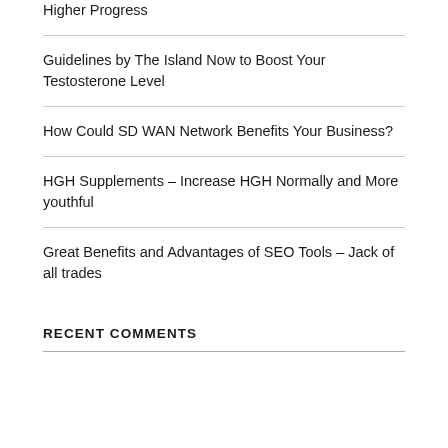Higher Progress
Guidelines by The Island Now to Boost Your Testosterone Level
How Could SD WAN Network Benefits Your Business?
HGH Supplements – Increase HGH Normally and More youthful
Great Benefits and Advantages of SEO Tools – Jack of all trades
RECENT COMMENTS